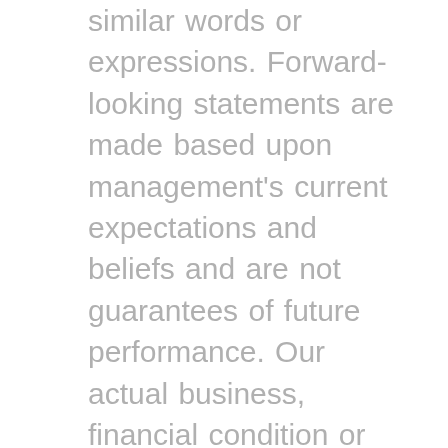similar words or expressions. Forward-looking statements are made based upon management's current expectations and beliefs and are not guarantees of future performance. Our actual business, financial condition or results of operations may differ materially from those suggested by forward-looking statements as a result of risks and uncertainties which include, among others, those risks and uncertainties described in any of our other filings with the SEC. Certain other factors which may impact our business, financial condition or results of